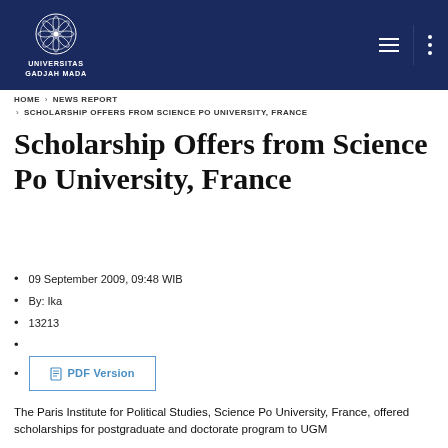[Figure (logo): Universitas Gadjah Mada logo with circular ornamental emblem and text UNIVERSITAS GADJAH MADA on dark navy header bar]
HOME › NEWS REPORT › SCHOLARSHIP OFFERS FROM SCIENCE PO UNIVERSITY, FRANCE
Scholarship Offers from Science Po University, France
09 September 2009, 09:48 WIB
By: Ika
13213
PDF Version
The Paris Institute for Political Studies, Science Po University, France, offered scholarships for postgraduate and doctorate program to UGM